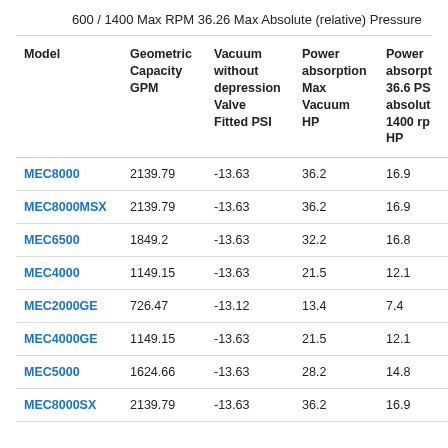600 / 1400 Max RPM 36.26 Max Absolute (relative) Pressure
| Model | Geometric Capacity GPM | Vacuum without depression Valve Fitted PSI | Power absorption Max Vacuum HP | Power absorption 36.6 PSI absolute 1400 rpm HP |
| --- | --- | --- | --- | --- |
| MEC8000 | 2139.79 | -13.63 | 36.2 | 16.9 |
| MEC8000MSX | 2139.79 | -13.63 | 36.2 | 16.9 |
| MEC6500 | 1849.2 | -13.63 | 32.2 | 16.8 |
| MEC4000 | 1149.15 | -13.63 | 21.5 | 12.1 |
| MEC2000GE | 726.47 | -13.12 | 13.4 | 7.4 |
| MEC4000GE | 1149.15 | -13.63 | 21.5 | 12.1 |
| MEC5000 | 1624.66 | -13.63 | 28.2 | 14.8 |
| MEC8000SX | 2139.79 | -13.63 | 36.2 | 16.9 |